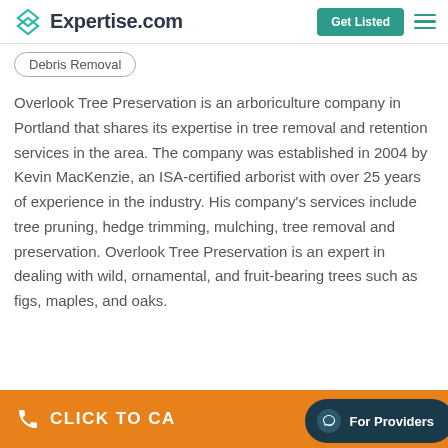Expertise.com
Debris Removal
Overlook Tree Preservation is an arboriculture company in Portland that shares its expertise in tree removal and retention services in the area. The company was established in 2004 by Kevin MacKenzie, an ISA-certified arborist with over 25 years of experience in the industry. His company's services include tree pruning, hedge trimming, mulching, tree removal and preservation. Overlook Tree Preservation is an expert in dealing with wild, ornamental, and fruit-bearing trees such as figs, maples, and oaks.
CLICK TO CALL
For Providers